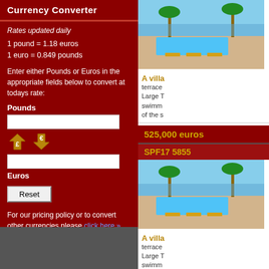Currency Converter
Rates updated daily
1 pound = 1.18 euros
1 euro = 0.849 pounds
Enter either Pounds or Euros in the appropriate fields below to convert at todays rate:
Pounds
Euros
Reset
For our pricing policy or to convert other currencies please click here »
[Figure (photo): Outdoor pool area with lounge chairs and palm trees, sunny day]
A villa...
terrace... Large ... swimm... of the s...
525,000 euros
SPF17 5855
[Figure (photo): Outdoor pool area with lounge chairs and palm trees, sunny day]
A villa...
terrace... Large ... swimm... of the s...
525,000 euros
SPF18 6148